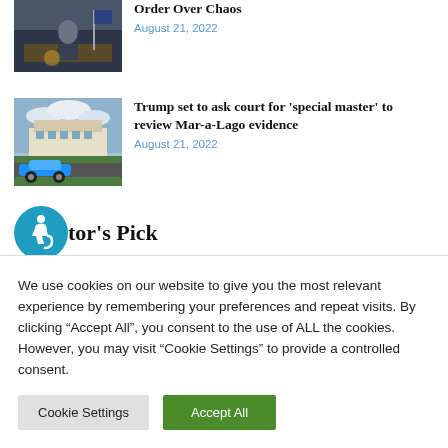[Figure (photo): Partial article thumbnail: person at presidential desk signing documents]
Order Over Chaos
August 21, 2022
[Figure (photo): Article thumbnail: blue sports car in front of Mar-a-Lago building]
Trump set to ask court for ‘special master’ to review Mar-a-Lago evidence
August 21, 2022
Editor's Pick
We use cookies on our website to give you the most relevant experience by remembering your preferences and repeat visits. By clicking “Accept All”, you consent to the use of ALL the cookies. However, you may visit "Cookie Settings" to provide a controlled consent.